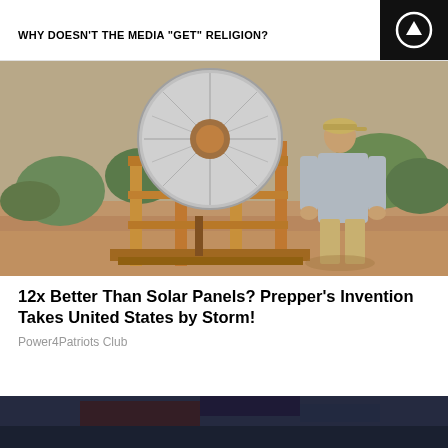WHY DOESN'T THE MEDIA "GET" RELIGION?
[Figure (photo): Man standing next to a wooden-framed solar concentrator/dish device outdoors on dirt ground with shrubs in background]
12x Better Than Solar Panels? Prepper's Invention Takes United States by Storm!
Power4Patriots Club
[Figure (photo): Partial view of another image at the bottom, dark blue and dark tones]